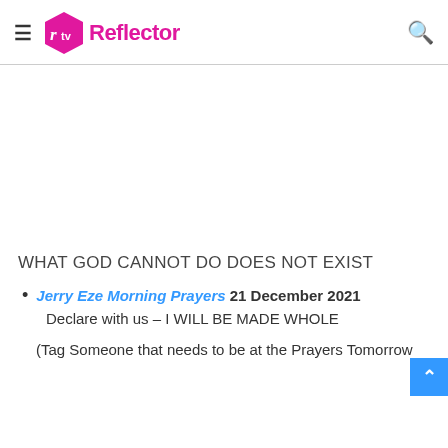≡ rtv Reflector [search icon]
WHAT GOD CANNOT DO DOES NOT EXIST
Jerry Eze Morning Prayers 21 December 2021
Declare with us – I WILL BE MADE WHOLE
(Tag Someone that needs to be at the Prayers Tomorrow